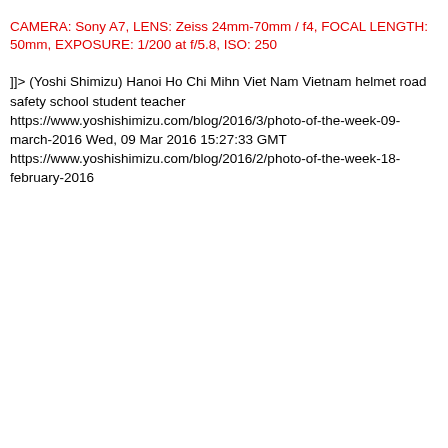CAMERA: Sony A7, LENS: Zeiss 24mm-70mm / f4, FOCAL LENGTH: 50mm, EXPOSURE: 1/200 at f/5.8, ISO: 250
]]> (Yoshi Shimizu) Hanoi Ho Chi Mihn Viet Nam Vietnam helmet road safety school student teacher https://www.yoshishimizu.com/blog/2016/3/photo-of-the-week-09-march-2016 Wed, 09 Mar 2016 15:27:33 GMT https://www.yoshishimizu.com/blog/2016/2/photo-of-the-week-18-february-2016